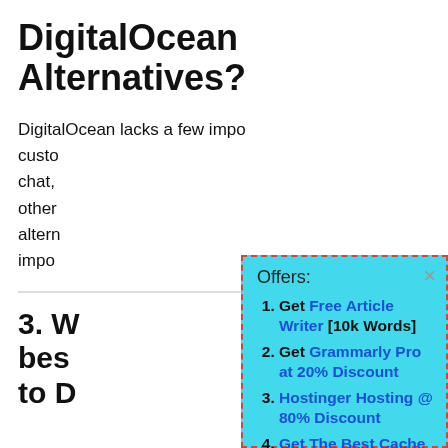DigitalOcean Alternatives?
DigitalOcean lacks a few impo[rtant features like] custo[mer support via live] chat, [and some] other [features that] altern[atives offer.] impo[rtant]
3. W[hat is the] bes[t alternative] to D[igitalOcean?]
Offers:
Get Free Article Writer [10k Words]
Get Grammarly Pro at 20% Discount
Hostinger Hosting @ 80% Discount
Get The Best Cache Plugin